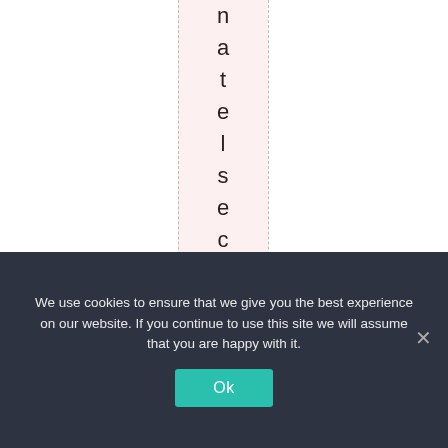n a t e l s e c a n t h e y d o ? W i
We use cookies to ensure that we give you the best experience on our website. If you continue to use this site we will assume that you are happy with it. Ok